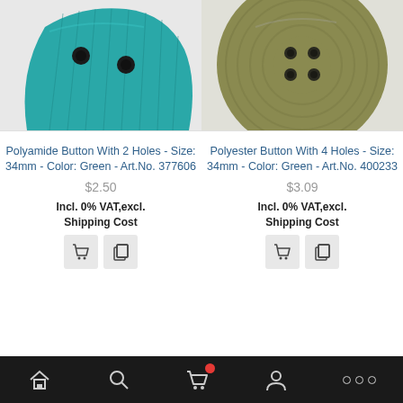[Figure (photo): Close-up photo of a teal/turquoise polyamide button with 2 holes, shown partially cropped]
[Figure (photo): Close-up photo of an olive/khaki green polyester button with 4 holes, round shape with concentric ring texture]
Polyamide Button With 2 Holes - Size: 34mm - Color: Green - Art.No. 377606
$2.50
Incl. 0% VAT,excl. Shipping Cost
Polyester Button With 4 Holes - Size: 34mm - Color: Green - Art.No. 400233
$3.09
Incl. 0% VAT,excl. Shipping Cost
Home | Search | Cart | Account | More